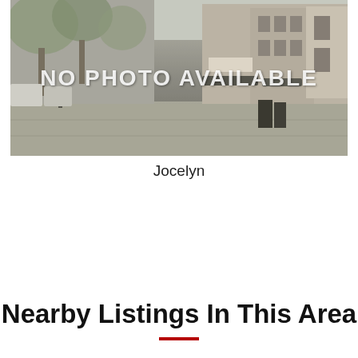[Figure (photo): A black-and-white street scene photo showing a downtown sidewalk with trees, benches, storefronts with awnings, and parked cars. Overlaid with white text reading NO PHOTO AVAILABLE.]
Jocelyn
Nearby Listings In This Area